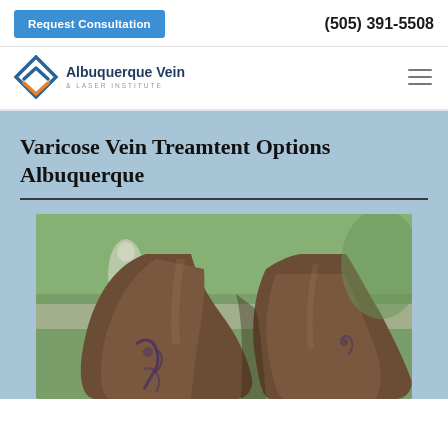Request Consultation | (505) 391-5508
[Figure (logo): Albuquerque Vein & Laser Institute logo with diamond/chevron icon in blue and orange]
Varicose Vein Treamtent Options Albuquerque
[Figure (photo): Close-up photograph of human legs showing varicose veins, outdoors with blurred background of people walking]